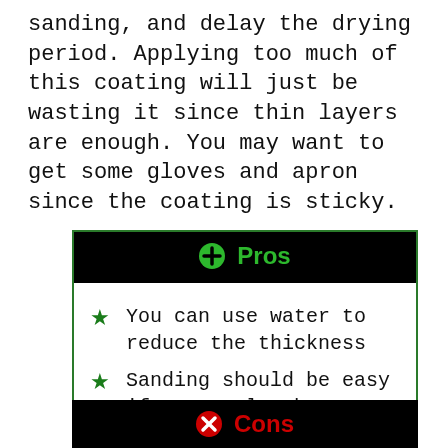sanding, and delay the drying period. Applying too much of this coating will just be wasting it since thin layers are enough. You may want to get some gloves and apron since the coating is sticky.
⊕ Pros
You can use water to reduce the thickness
Sanding should be easy if you apply the coating correctly
⊗ Cons